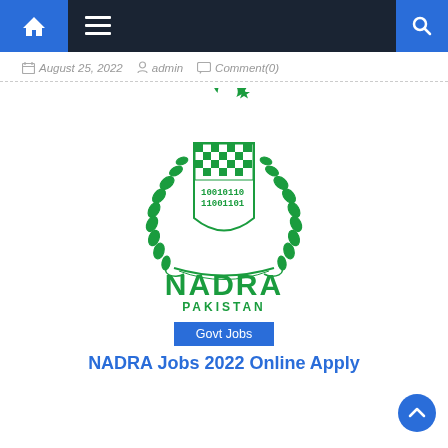Navigation bar with home, menu, and search icons
August 25, 2022   admin   Comment(0)
[Figure (logo): NADRA Pakistan official emblem/logo in green, featuring a crescent and star above a shield with binary digits and wreath, with text NADRA PAKISTAN]
Govt Jobs
NADRA Jobs 2022 Online Apply